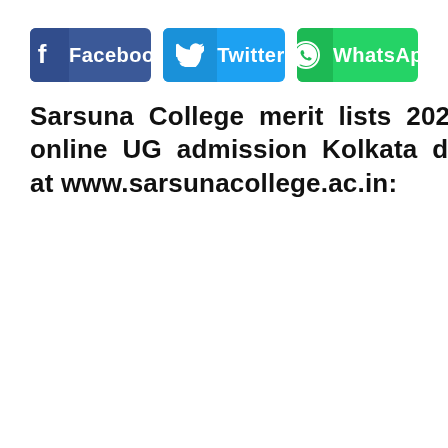[Figure (infographic): Three social media share buttons: Facebook (blue), Twitter (light blue), WhatsApp (green), each with icon and label]
Sarsuna College merit lists 2022 online UG admission Kolkata declare at www.sarsunacollege.ac.in: